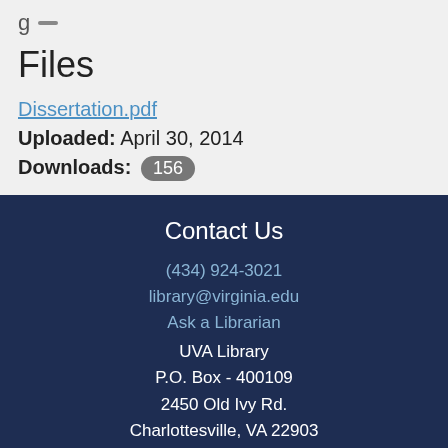Files
Dissertation.pdf
Uploaded: April 30, 2014
Downloads: 156
Contact Us
(434) 924-3021
library@virginia.edu
Ask a Librarian
UVA Library
P.O. Box - 400109
2450 Old Ivy Rd.
Charlottesville, VA 22903
About the Library